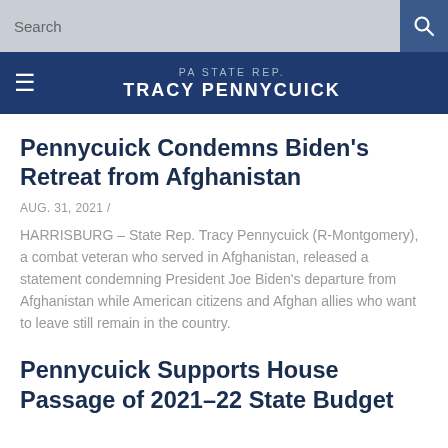Search
PA STATE REP. TRACY PENNYCUICK
Pennycuick Condemns Biden's Retreat from Afghanistan
AUG. 31, 2021 /
HARRISBURG – State Rep. Tracy Pennycuick (R-Montgomery), a combat veteran who served in Afghanistan, released a statement condemning President Joe Biden's departure from Afghanistan while American citizens and Afghan allies who want to leave still remain in the country.
Pennycuick Supports House Passage of 2021-22 State Budget